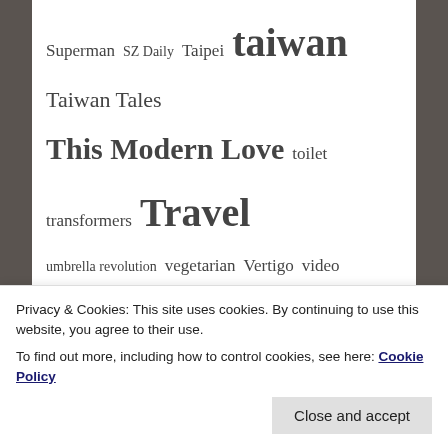Superman SZ Daily Taipei taiwan Taiwan Tales This Modern Love toilet transformers Travel umbrella revolution vegetarian Vertigo video writing X-Men youtube
CATEGORIES
Always Goodbye (18)
Art (35)
Chinglish (84)
Comics (62)
Dating in China (31)
Interviews (32)
This Modern Love (10)
Privacy & Cookies: This site uses cookies. By continuing to use this website, you agree to their use. To find out more, including how to control cookies, see here: Cookie Policy